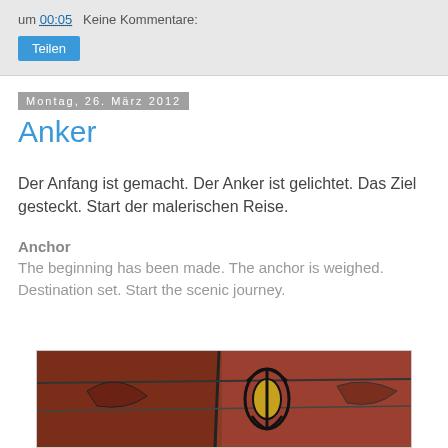um 00:05   Keine Kommentare:
Teilen
Montag, 26. März 2012
Anker
Der Anfang ist gemacht. Der Anker ist gelichtet. Das Ziel gesteckt. Start der malerischen Reise.
Anchor
The beginning has been made. The anchor is weighed. Destination set. Start the scenic journey.
[Figure (illustration): Painting/illustration of an anchor or abstract composition in reddish-brown tones with dark outlines and some yellow/gold accents, visible as a partial cropped image.]